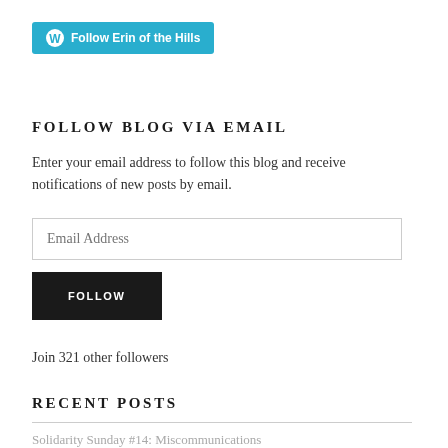[Figure (logo): WordPress Follow button: 'Follow Erin of the Hills' in teal/cyan background with WordPress logo icon]
FOLLOW BLOG VIA EMAIL
Enter your email address to follow this blog and receive notifications of new posts by email.
Email Address (input field)
FOLLOW (button)
Join 321 other followers
RECENT POSTS
Solidarity Sunday #14: Miscommunications